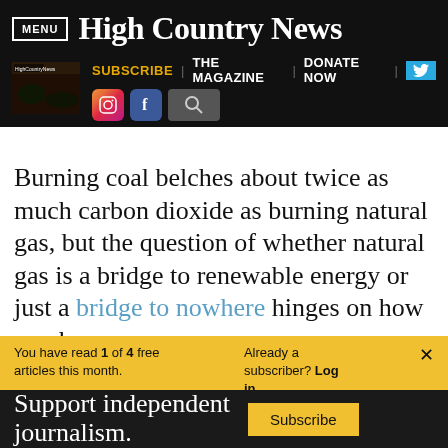MENU | High Country News
SUBSCRIBE | THE MAGAZINE | DONATE NOW
Burning coal belches about twice as much carbon dioxide as burning natural gas, but the question of whether natural gas is a bridge to renewable energy or just a bridge to nowhere hinges on how much
You have read 1 of 4 free articles this month. Already a subscriber? Log in. ×
Support independent journalism. Subscribe